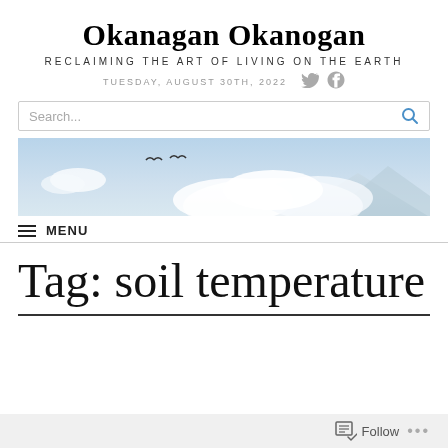Okanagan Okanogan
RECLAIMING THE ART OF LIVING ON THE EARTH
TUESDAY, AUGUST 30TH, 2022
[Figure (screenshot): Search bar with placeholder text 'Search...' and blue search icon on the right]
[Figure (photo): Wide banner photograph of a pale blue sky with a large cloud formation and two birds flying in silhouette]
≡  MENU
Tag: soil temperature
Follow